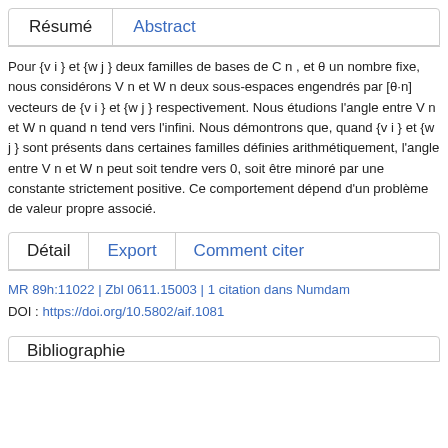Résumé  Abstract
Pour {v i } et {w j } deux familles de bases de C n , et θ un nombre fixe, nous considérons V n et W n deux sous-espaces engendrés par [θ·n] vecteurs de {v i } et {w j } respectivement. Nous étudions l'angle entre V n et W n quand n tend vers l'infini. Nous démontrons que, quand {v i } et {w j } sont présents dans certaines familles définies arithmétiquement, l'angle entre V n et W n peut soit tendre vers 0, soit être minoré par une constante strictement positive. Ce comportement dépend d'un problème de valeur propre associé.
Détail  Export  Comment citer
MR 89h:11022 | Zbl 0611.15003 | 1 citation dans Numdam
DOI : https://doi.org/10.5802/aif.1081
Bibliographie